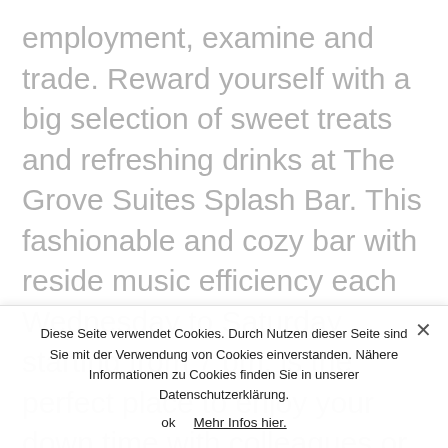employment, examine and trade. Reward yourself with a big selection of sweet treats and refreshing drinks at The Grove Suites Splash Bar. This fashionable and cozy bar with reside music efficiency each Wednesday to Saturday starting from 7 pm, is the perfect place to enjoy your down time with colleagues or associates. The group's latest 5 star
Diese Seite verwendet Cookies. Durch Nutzen dieser Seite sind Sie mit der Verwendung von Cookies einverstanden. Nähere Informationen zu Cookies finden Sie in unserer Datenschutzerklärung.
ok   Mehr Infos hier.